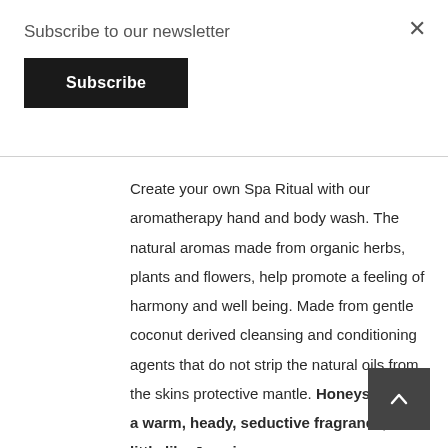Subscribe to our newsletter
Subscribe
Create your own Spa Ritual with our aromatherapy hand and body wash. The natural aromas made from organic herbs, plants and flowers, help promote a feeling of harmony and well being. Made from gentle coconut derived cleansing and conditioning agents that do not strip the natural oils from the skins protective mantle. Honeysuckle is a warm, heady, seductive fragrance, a little like Jasmine tinted with Vanilla, Musk, Formula...